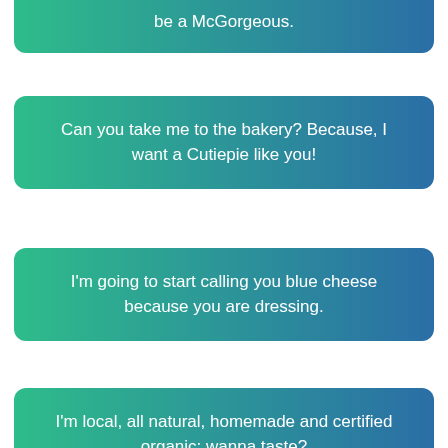be a McGorgeous.
Can you take me to the bakery? Because, I want a Cutiepie like you!
I'm going to start calling you blue cheese because you are dressing.
I'm local, all natural, homemade and certified organic: wanna taste?